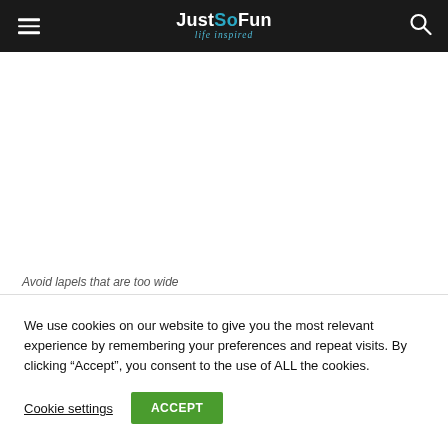JustSoFun life inspired
[Figure (other): White content area representing an image of wide lapels on a suit jacket]
Avoid lapels that are too wide
We use cookies on our website to give you the most relevant experience by remembering your preferences and repeat visits. By clicking “Accept”, you consent to the use of ALL the cookies.
Cookie settings   ACCEPT